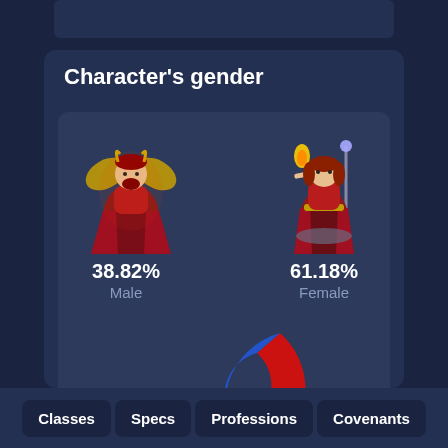Character's gender
[Figure (donut-chart): Character's gender]
Classes
Specs
Professions
Covenants